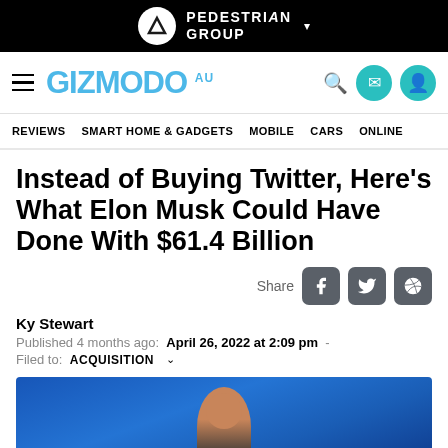PEDESTRIAN GROUP
GIZMODO AU — REVIEWS SMART HOME & GADGETS MOBILE CARS ONLINE
Instead of Buying Twitter, Here's What Elon Musk Could Have Done With $61.4 Billion
Share
Ky Stewart
Published 4 months ago: April 26, 2022 at 2:09 pm
Filed to: ACQUISITION
[Figure (photo): Photo of a person (likely Elon Musk) against a blue background, partially visible at the bottom of the page]